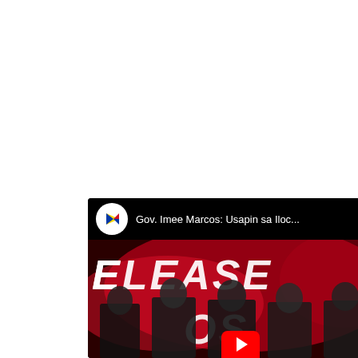[Figure (screenshot): YouTube video card showing a government video titled 'Gov. Imee Marcos: Usapin sa Iloc...' with PTV (Philippine Television) branding. The thumbnail shows people standing in front of a red background with partial text 'RELEASE' visible. A Philippine government channel icon (PTV) appears in a white circle on the left of the video bar.]